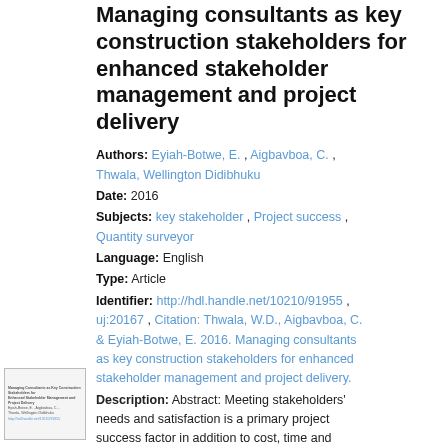Managing consultants as key construction stakeholders for enhanced stakeholder management and project delivery
Authors: Eyiah-Botwe, E. , Aigbavboa, C. , Thwala, Wellington Didibhuku
Date: 2016
Subjects: key stakeholder , Project success , Quantity surveyor
Language: English
Type: Article
Identifier: http://hdl.handle.net/10210/91955 , uj:20167 , Citation: Thwala, W.D., Aigbavboa, C. & Eyiah-Botwe, E. 2016. Managing consultants as key construction stakeholders for enhanced stakeholder management and project delivery.
Description: Abstract: Meeting stakeholders' needs and satisfaction is a primary project success factor in addition to cost, time and quality. Though studies have suggested stakeholders' dissatisfaction with project success
[Figure (other): Thumbnail image of the document page showing the article title and metadata in small text]